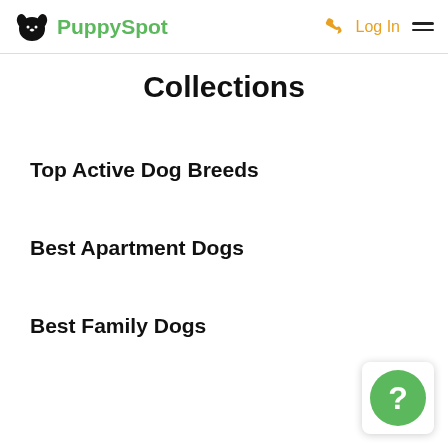PuppySpot — Log In
Collections
Top Active Dog Breeds
Best Apartment Dogs
Best Family Dogs